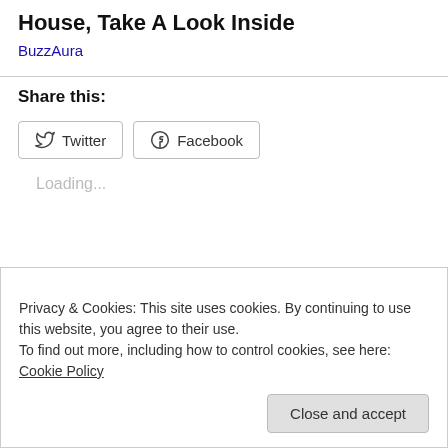House, Take A Look Inside
BuzzAura
Share this:
Loading...
Privacy & Cookies: This site uses cookies. By continuing to use this website, you agree to their use.
To find out more, including how to control cookies, see here: Cookie Policy